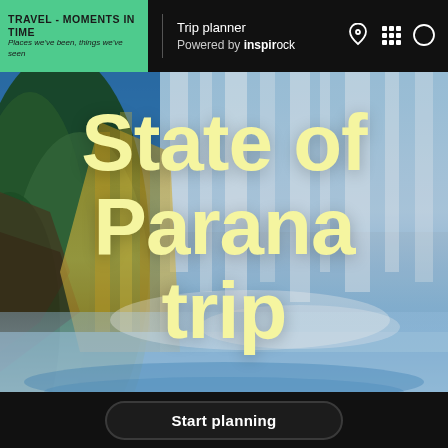TRAVEL - MOMENTS IN TIME | Places we've been, things we've seen | Trip planner | Powered by inspirock
[Figure (photo): Waterfall photo (Iguazu Falls) with blue, yellow, and green tones — hero background image]
State of Parana trip
Start planning